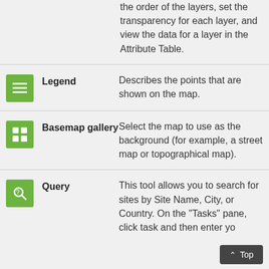the order of the layers, set the transparency for each layer, and view the data for a layer in the Attribute Table.
| Icon | Name | Description |
| --- | --- | --- |
| [legend icon] | Legend | Describes the points that are shown on the map. |
| [basemap icon] | Basemap gallery | Select the map to use as the background (for example, a street map or topographical map). |
| [query icon] | Query | This tool allows you to search for sites by Site Name, City, or Country. On the "Tasks" pane, click task and then enter yo... |